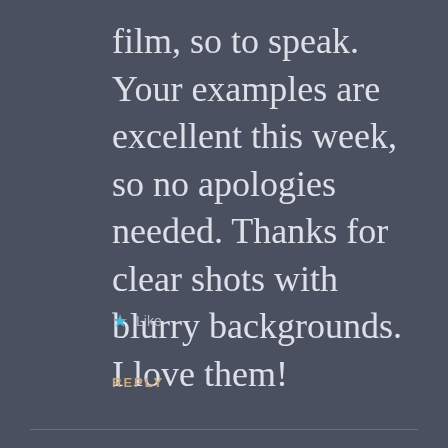film, so to speak. Your examples are excellent this week, so no apologies needed. Thanks for clear shots with blurry backgrounds. I love them!
★ Like
REPLY